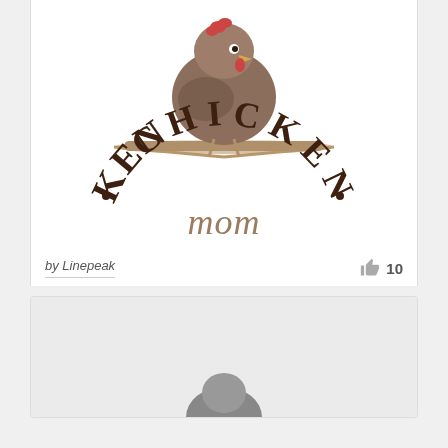[Figure (logo): Chicken Mom logo: a brown hen standing on a perch above arched text reading '.CHICKEN.' in dark brown serif capitals, with 'mom' in italic brown/tan script below]
by Linepeak
10
[Figure (illustration): Second card partially visible with light gray background, showing the top of another logo/illustration at the bottom edge]